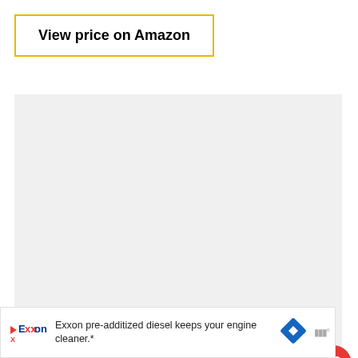View price on Amazon
[Figure (other): Large light gray placeholder image area]
[Figure (other): Red circular heart/favorite button icon]
[Figure (other): White circular share button icon]
WHAT'S NEXT → The 15 Best TV Stands Y...
Exxon pre-additized diesel keeps your engine cleaner.*